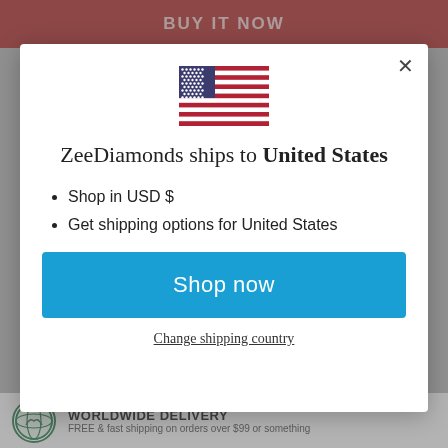BUY IT NOW
[Figure (illustration): US flag emoji/icon]
ZeeDiamonds ships to United States
Shop in USD $
Get shipping options for United States
Shop now
Change shipping country
WORLDWIDE DELIVERY
FREE & fast shipping on orders over $99 or something